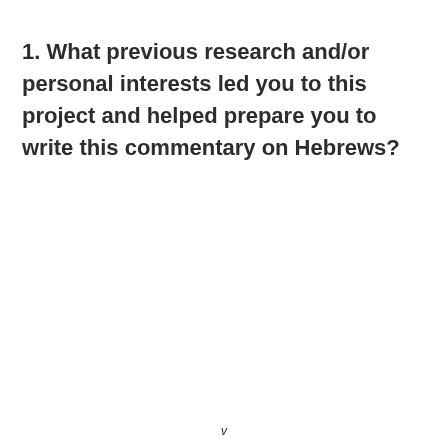1. What previous research and/or personal interests led you to this project and helped prepare you to write this commentary on Hebrews?
v